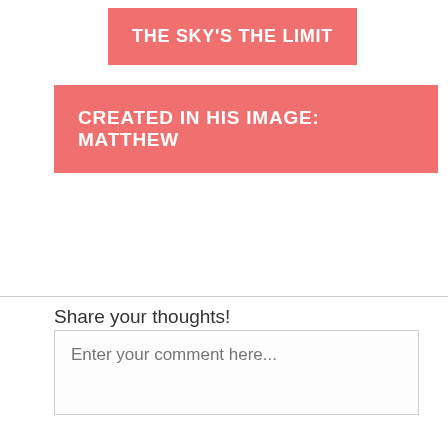THE SKY'S THE LIMIT
CREATED IN HIS IMAGE: MATTHEW
Share your thoughts!
Enter your comment here...